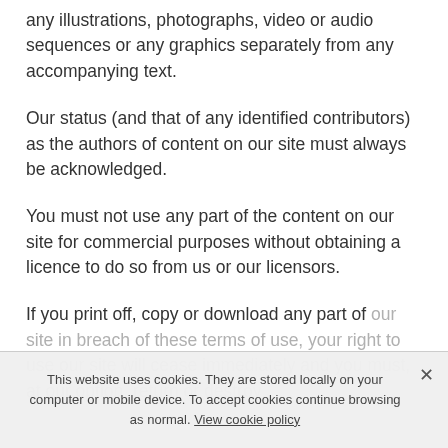any illustrations, photographs, video or audio sequences or any graphics separately from any accompanying text.
Our status (and that of any identified contributors) as the authors of content on our site must always be acknowledged.
You must not use any part of the content on our site for commercial purposes without obtaining a licence to do so from us or our licensors.
If you print off, copy or download any part of our site in breach of these terms of use, your right to use our site will cease immediately and you must, at our option, return or destroy any copies of the materials you have made.
This website uses cookies. They are stored locally on your computer or mobile device. To accept cookies continue browsing as normal. View cookie policy